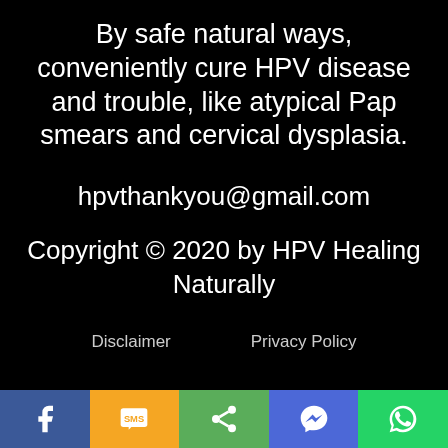By safe natural ways, conveniently cure HPV disease and trouble, like atypical Pap smears and cervical dysplasia.
hpvthankyou@gmail.com
Copyright © 2020 by HPV Healing Naturally
Disclaimer   Privacy Policy
Sitemap
[Figure (other): Social sharing bottom bar with icons: Facebook (blue), SMS (orange/yellow), Share (green), Messenger (blue), WhatsApp (green)]